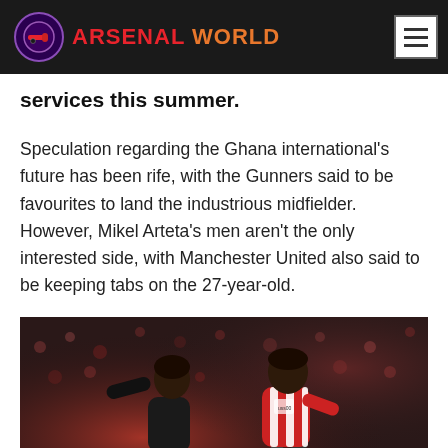ARSENAL WORLD
services this summer.
Speculation regarding the Ghana international's future has been rife, with the Gunners said to be favourites to land the industrious midfielder. However, Mikel Arteta's men aren't the only interested side, with Manchester United also said to be keeping tabs on the 27-year-old.
[Figure (photo): Two football players competing for the ball — one in dark kit, one in red and white striped Atletico Madrid kit — with blurred crowd in the background.]